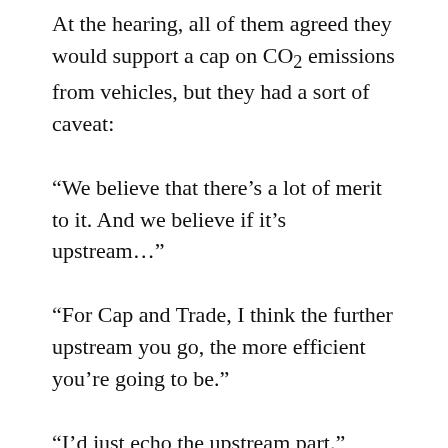At the hearing, all of them agreed they would support a cap on CO2 emissions from vehicles, but they had a sort of caveat:
“We believe that there’s a lot of merit to it. And we believe if it’s upstream…”
“For Cap and Trade, I think the further upstream you go, the more efficient you’re going to be.”
“I’d just echo the upstream part.”